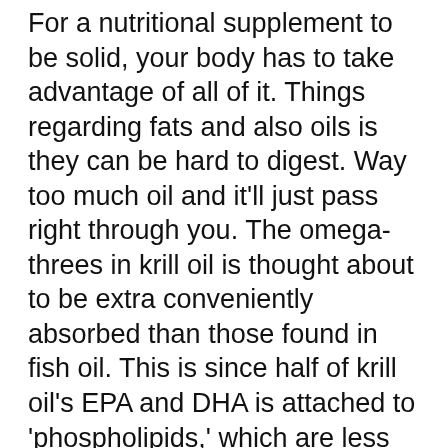For a nutritional supplement to be solid, your body has to take advantage of all of it. Things regarding fats and also oils is they can be hard to digest. Way too much oil and it'll just pass right through you. The omega-threes in krill oil is thought about to be extra conveniently absorbed than those found in fish oil. This is since half of krill oil's EPA and DHA is attached to 'phospholipids,' which are less complicated to absorb than the ordinary 'triglycerides' in fish oil. One more perk that krill oil has, is that it's considered to be really stable as well as free from heavy metals.2.
I believe lots of people that don't get many omega-3's in their diet plan could take advantage of krill oil supplements. Omega-3's are thought to support heart health, skin